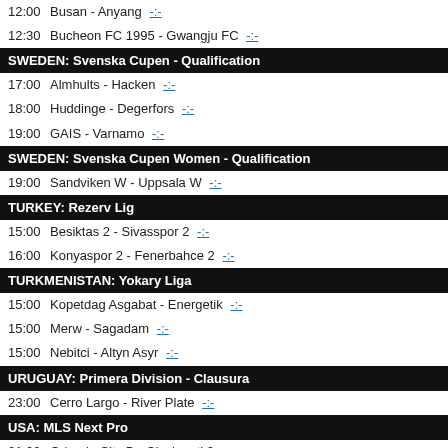12:00  Busan - Anyang -:-
12:30  Bucheon FC 1995 - Gwangju FC -:-
SWEDEN: Svenska Cupen - Qualification
17:00  Almhults - Hacken -:-
18:00  Huddinge - Degerfors -:-
19:00  GAIS - Varnamo -:-
SWEDEN: Svenska Cupen Women - Qualification
19:00  Sandviken W - Uppsala W -:-
TURKEY: Rezerv Lig
15:00  Besiktas 2 - Sivasspor 2 -:-
16:00  Konyaspor 2 - Fenerbahce 2 -:-
TURKMENISTAN: Yokary Liga
15:00  Kopetdag Asgabat - Energetik -:-
15:00  Merw - Sagadam -:-
15:00  Nebitci - Altyn Asyr -:-
URUGUAY: Primera Division - Clausura
23:00  Cerro Largo - River Plate -:-
USA: MLS Next Pro
01:00  Orlando City B - Cincinnati 2 -:-
USA: NISA
04:00  LA Force - Flower City -:-
UZBEKISTAN: Super League
16:00  Metallurg Bekabad - Kokand 1912 -:-
VIETNAM: National League Women